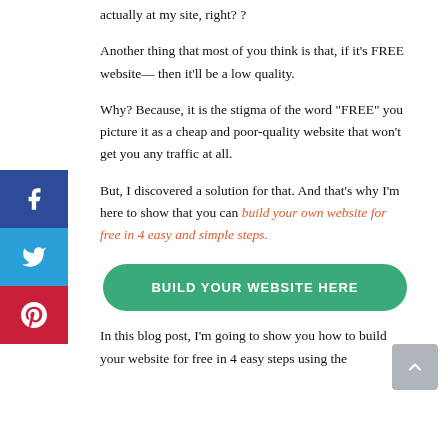actually at my site, right? ?
Another thing that most of you think is that, if it’s FREE website— then it’ll be a low quality.
Why? Because, it is the stigma of the word “FREE” you picture it as a cheap and poor-quality website that won’t get you any traffic at all.
But, I discovered a solution for that. And that’s why I’m here to show that you can build your own website for free in 4 easy and simple steps.
[Figure (other): Green rounded button labeled BUILD YOUR WEBSITE HERE]
In this blog post, I’m going to show you how to build your website for free in 4 easy steps using the